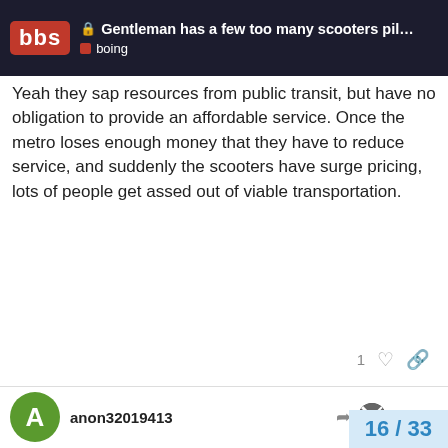Gentleman has a few too many scooters pil... | bbs | boing
Yeah they sap resources from public transit, but have no obligation to provide an affordable service. Once the metro loses enough money that they have to reduce service, and suddenly the scooters have surge pricing, lots of people get assed out of viable transportation.
anon32019413  Jun '18
Bfarnn:
Yeah they sap resources from public transit
there are capacity issues with the current light rail line in San Jose. Also people don't ride it because it's ... ago I used to commute 1 hour on light rail ... quick look on google maps confirms the ti...
16 / 33